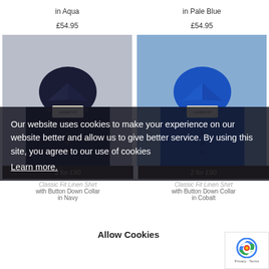in Aqua
in Pale Blue
£54.95
£54.95
[Figure (photo): Folded dark navy linen shirt with button down collar]
[Figure (photo): Folded cobalt blue linen shirt with button down collar]
2 for £90
2 for £90
Our website uses cookies to make your experience on our website better and allow us to give better service. By using this site, you agree to our use of cookies
Learn more.
Allow Cookies
Classic Fit Linen Shirt
with Button Down Collar
in Navy
Classic Fit Linen Shirt
with Button Down Collar
in Cobalt